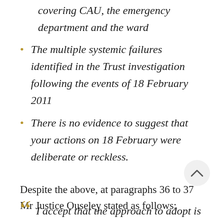covering CAU, the emergency department and the ward
The multiple systemic failures identified in the Trust investigation following the events of 18 February 2011
There is no evidence to suggest that your actions on 18 February were deliberate or reckless.
Despite the above, at paragraphs 36 to 37 Mr Justice Ouseley stated as follows:
I accept that the approach to adopt is